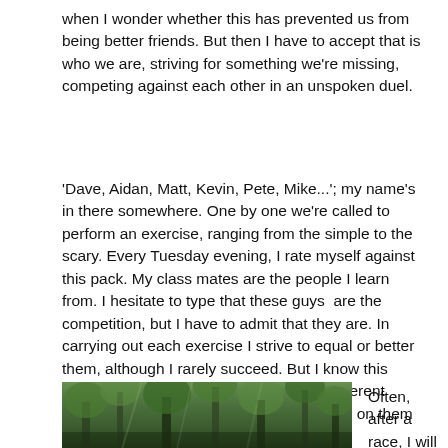when I wonder whether this has prevented us from being better friends.  But then I have to accept that is who we are, striving for something we're missing, competing against each other in an unspoken duel.
'Dave, Aidan, Matt, Kevin, Pete, Mike...'; my name's in there somewhere. One by one we're called to perform an exercise, ranging from the simple to the scary.  Every Tuesday evening, I rate myself against this pack.  My class mates are the people I learn from.  I hesitate to type that these guys  are the competition, but I have to admit that they are.  In carrying out each exercise I strive to equal or better them, although I rarely succeed.  But I know this approach is flawed because we are all different riders with our own strengths and focusing on them means I am not focusing on me.
[Figure (photo): A photo showing green forest trees, partially visible at the bottom of the page.]
Often, after a race, I will catch